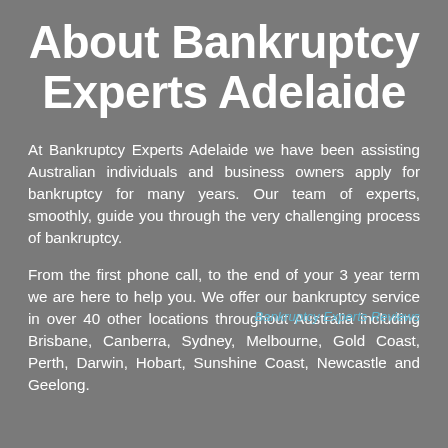About Bankruptcy Experts Adelaide
At Bankruptcy Experts Adelaide we have been assisting Australian individuals and business owners apply for bankruptcy for many years. Our team of experts, smoothly, guide you through the very challenging process of bankruptcy.
From the first phone call, to the end of your 3 year term we are here to help you. We offer our bankruptcy service in over 40 other locations throughout Australia including Brisbane, Canberra, Sydney, Melbourne, Gold Coast, Perth, Darwin, Hobart, Sunshine Coast, Newcastle and Geelong.